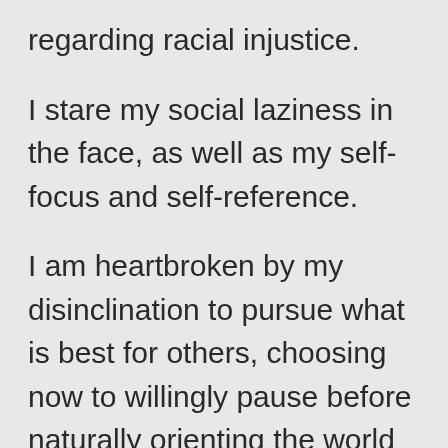regarding racial injustice.
I stare my social laziness in the face, as well as my self-focus and self-reference.
I am heartbroken by my disinclination to pursue what is best for others, choosing now to willingly pause before naturally orienting the world around my point of view.